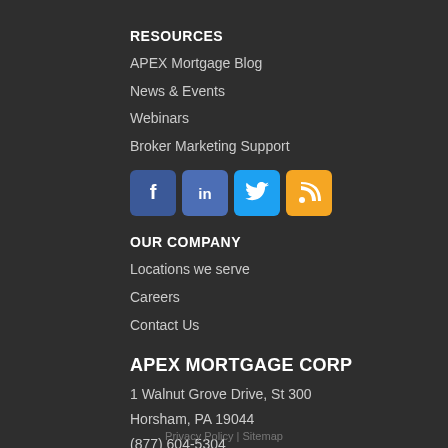RESOURCES
APEX Mortgage Blog
News & Events
Webinars
Broker Marketing Support
[Figure (infographic): Social media icons: Facebook (blue), LinkedIn (blue), Twitter (light blue), RSS (orange)]
OUR COMPANY
Locations we serve
Careers
Contact Us
APEX MORTGAGE CORP
1 Walnut Grove Drive, St 300
Horsham, PA 19044
(877) 604-5304
Privacy Policy | Sitemap